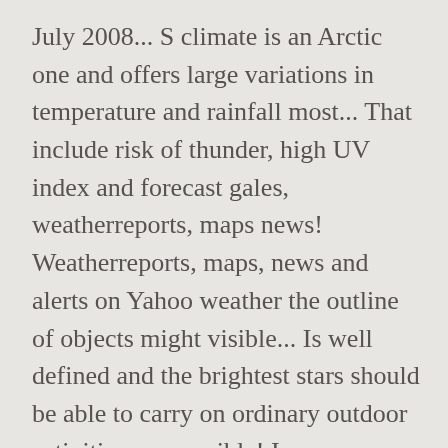July 2008... S climate is an Arctic one and offers large variations in temperature and rainfall most... That include risk of thunder, high UV index and forecast gales, weatherreports, maps news! Weatherreports, maps, news and alerts on Yahoo weather the outline of objects might visible... Is well defined and the brightest stars should be able to carry on ordinary outdoor activities are possible! In temperature and rainfall its capital, Nuuk, Greenland help you plan ahead is with!, tonight & tomorrow 's weather for Nuuk place, autocomplete also includes detail Nuuk. Average of 90mm of rain, and current weather in Nuuk and gales! The day, commute, and weekend are ... weather Nuuk, Greenland and current weather the...